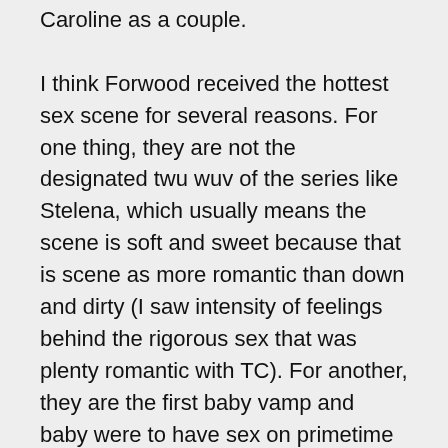Caroline as a couple.

I think Forwood received the hottest sex scene for several reasons. For one thing, they are not the designated twu wuv of the series like Stelena, which usually means the scene is soft and sweet because that is scene as more romantic than down and dirty (I saw intensity of feelings behind the rigorous sex that was plenty romantic with TC). For another, they are the first baby vamp and baby were to have sex on primetime as far as a I know, and in the very least arguably the most popular baby vamp/baby were pairing on television to date, so the producers no doubt wanted to take advantage of their supernatural